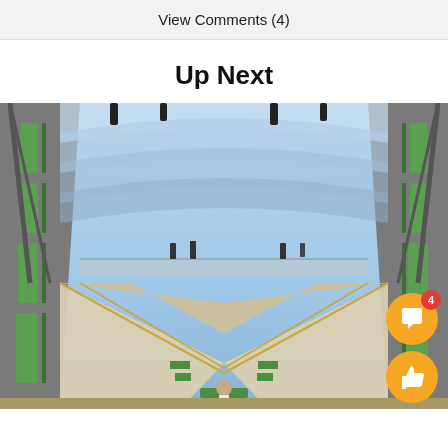View Comments (4)
Up Next
[Figure (photo): Interior view of a large building with a glass skylight ceiling, multiple levels with green railings, and escalators/staircases forming a symmetrical pattern. People visible on upper walkways and balconies.]